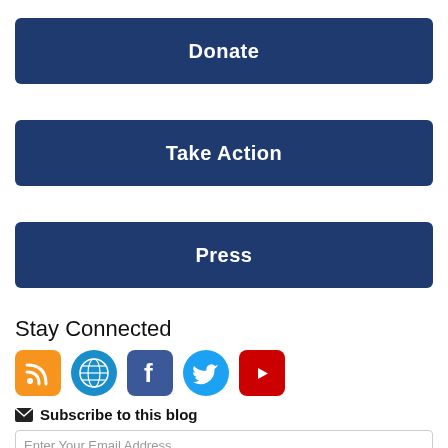Donate
Take Action
Press
Stay Connected
[Figure (infographic): Social media icons: RSS (orange), Globe (blue), Facebook (dark blue), Twitter (light blue), YouTube (red)]
Subscribe to this blog
Enter Your Email Address